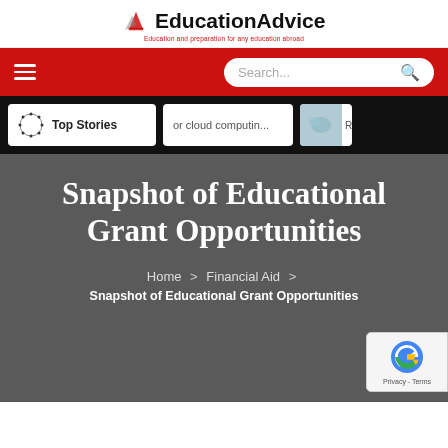EducationAdvice
[Figure (screenshot): Red navigation bar with hamburger menu and search box]
[Figure (screenshot): Black stories bar with Top Stories card, cloud computing text card, and image card]
Snapshot of Educational Grant Opportunities
Home > Financial Aid > Snapshot of Educational Grant Opportunities